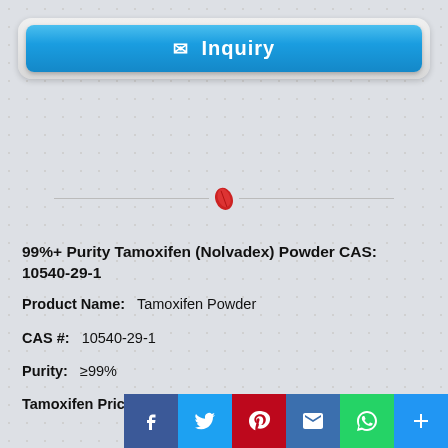[Figure (other): Blue inquiry button with envelope icon and text 'Inquiry' on a gray pill-shaped background]
[Figure (other): Horizontal divider line with a red leaf icon in the center]
99%+ Purity Tamoxifen (Nolvadex) Powder CAS: 10540-29-1
Product Name:   Tamoxifen Powder
CAS #:   10540-29-1
Purity:   ≥99%
Tamoxifen Price:   According to
[Figure (other): Social media sharing bar with Facebook, Twitter, Pinterest, Email, WhatsApp, and Add (+) icons]